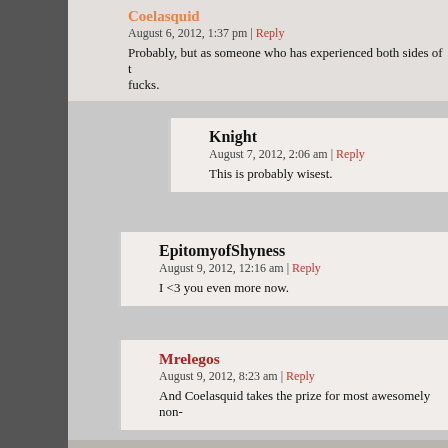Coelasquid
August 6, 2012, 1:37 pm | Reply
Probably, but as someone who has experienced both sides of t... fucks.
Knight
August 7, 2012, 2:06 am | Reply
This is probably wisest.
EpitomyofShyness
August 9, 2012, 12:16 am | Reply
I <3 you even more now.
Mrelegos
August 9, 2012, 8:23 am | Reply
And Coelasquid takes the prize for most awesomely non...
Kenny
August 6, 2012, 12:45 pm | # | Reply
Yeah, Canadian healthcare is good, I don't have much of an opinion,... healthcare-less. As long as we use a similar method to Canada, I'm a... Britain, that's crossing the line. A friend of the family that lived in Brita... because, although she knew she had it, it was taking 4 months for he...